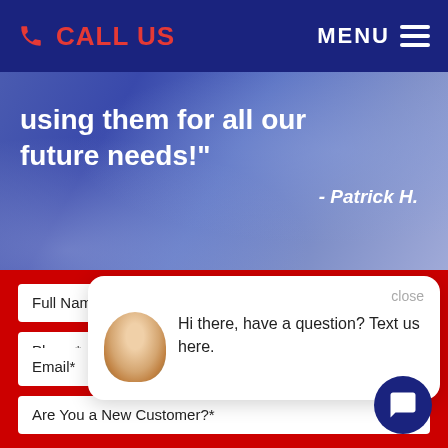CALL US | MENU
using them for all our future needs!"
- Patrick H.
Full Name*
Phone*
close
Hi there, have a question? Text us here.
Email*
Are You a New Customer?*